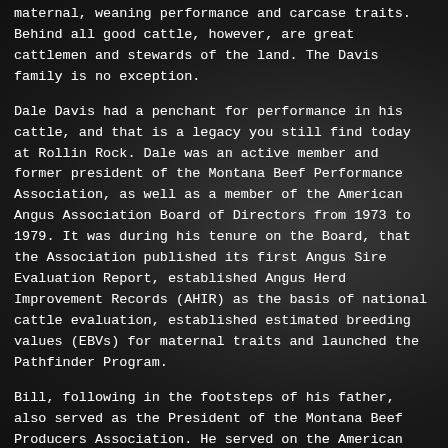maternal, weaning performance and carcase traits. Behind all good cattle, however, are great cattlemen and stewards of the land. The Davis family is no exception.
Dale Davis had a penchant for performance in his cattle, and that is a legacy you still find today at Rollin Rock. Dale was an active member and former president of the Montana Beef Performance Association, as well as a member of the American Angus Association Board of Directors from 1973 to 1979. It was during his tenure on the Board, that the Association published its first Angus Sire Evaluation Report, established Angus Herd Improvement Records (AHIR) as the basis of national cattle evaluation, established estimated breeding values (EBVs) for maternal traits and launched the Pathfinder Program.
Bill, following in the footsteps of his father, also served as the President of the Montana Beef Producers Association. He served on the American Angus Association Board of Directors for 8 years, serving as President in 2010. The